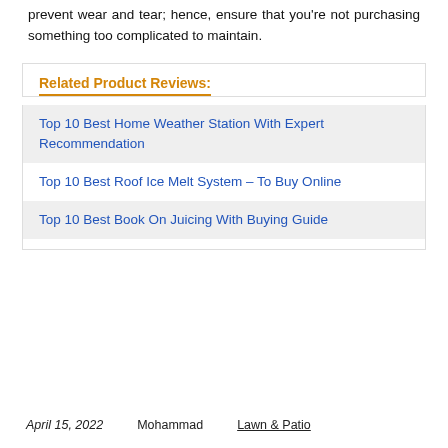prevent wear and tear; hence, ensure that you're not purchasing something too complicated to maintain.
Related Product Reviews:
Top 10 Best Home Weather Station With Expert Recommendation
Top 10 Best Roof Ice Melt System – To Buy Online
Top 10 Best Book On Juicing With Buying Guide
April 15, 2022   Mohammad   Lawn & Patio